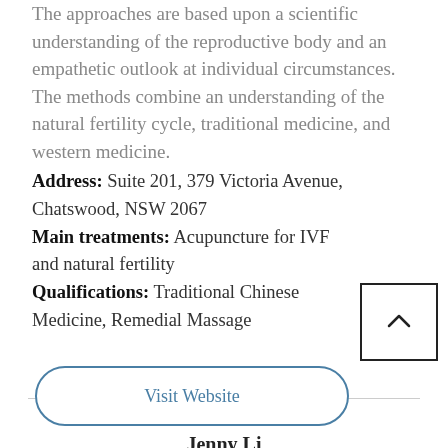The approaches are based upon a scientific understanding of the reproductive body and an empathetic outlook at individual circumstances. The methods combine an understanding of the natural fertility cycle, traditional medicine, and western medicine.
Address: Suite 201, 379 Victoria Avenue, Chatswood, NSW 2067
Main treatments: Acupuncture for IVF and natural fertility
Qualifications: Traditional Chinese Medicine, Remedial Massage
Contact :
Jenny Li
Visit Website